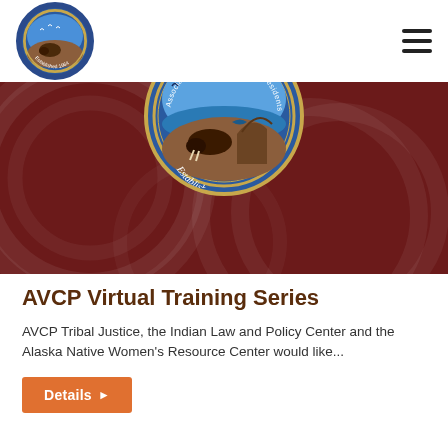Association of Village Council Presidents (AVCP) — navigation bar with logo and hamburger menu
[Figure (illustration): Dark red hero banner with circular decorative watermark patterns and the AVCP organization seal (circular badge with blue background, wildlife imagery, and 'Established 1964' text) centered at the top]
AVCP Virtual Training Series
AVCP Tribal Justice, the Indian Law and Policy Center and the Alaska Native Women's Resource Center would like...
Details ▸